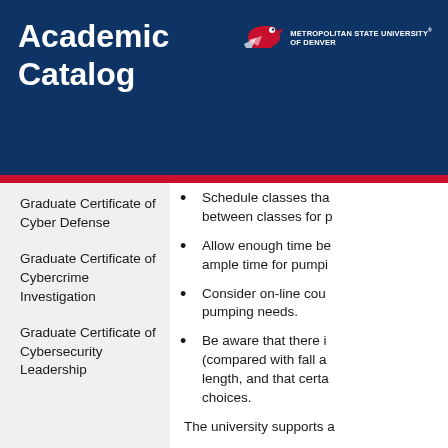Academic Catalog
Graduate Certificate of Cyber Defense
Graduate Certificate of Cybercrime Investigation
Graduate Certificate of Cybersecurity Leadership
Schedule classes tha... between classes for p...
Allow enough time be... ample time for pumpi...
Consider on-line cou... pumping needs.
Be aware that there i... (compared with fall a... length, and that certa... choices.
The university supports a...